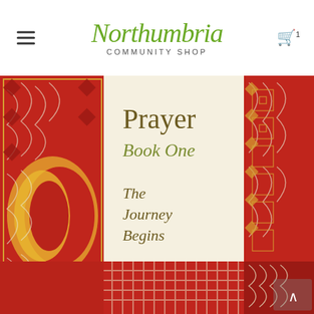[Figure (logo): Northumbria Community Shop logo with stylized cursive text and 'COMMUNITY SHOP' subtitle in uppercase]
[Figure (photo): Book cover of 'Celtic Daily Prayer Book One: The Journey Begins' showing ornate Celtic knotwork patterns in red, gold, and white, with the book title visible on a cream-colored panel]